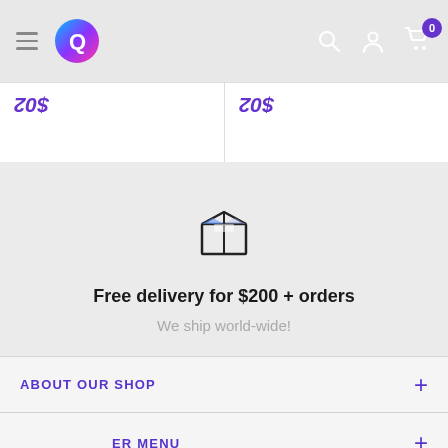Navigation bar with logo, hamburger menu, search, account, and cart icons
| $02 | $02 |
[Figure (illustration): Box/package icon representing delivery]
Free delivery for $200 + orders
We ship world-wide!
ABOUT OUR SHOP
ER MENU